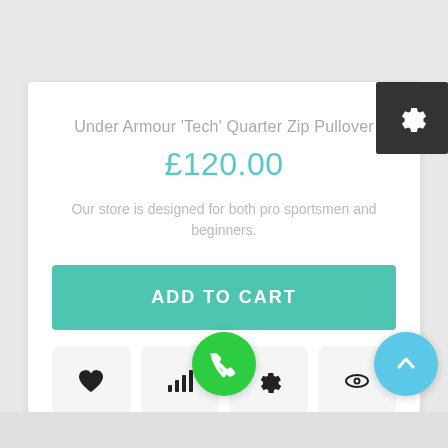Under Armour 'Tech' Quarter Zip Pullover
£120.00
Our store is designed for both pro sportsmen and beginners.
[Figure (screenshot): ADD TO CART button in teal/turquoise color]
[Figure (screenshot): Four icon buttons: heart, bar chart, gear, eye]
[Figure (screenshot): Green phone FAB button and blue scroll-up FAB button]